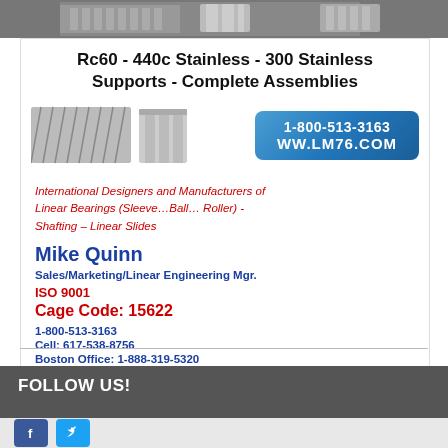[Figure (photo): Top image strip showing metallic linear bearing components]
Rc60 - 440c Stainless - 300 Stainless Supports - Complete Assemblies
[Figure (photo): Product images of linear bearings and shafting components alongside a blue phone badge showing 1-800-513-3163 and WW.LM76.COM]
International Designers and Manufacturers of Linear Bearings (Sleeve…Ball… Roller) - Shafting – Linear Slides
Mike Quinn
Sales/Marketing/Linear Engineering Mgr.
ISO 9001
Cage Code: 15622
1-800-513-3163
Cell: 617-538-8756
Boston Office: 1-888-319-5320
www.LM76.com
Read More
FOLLOW US!